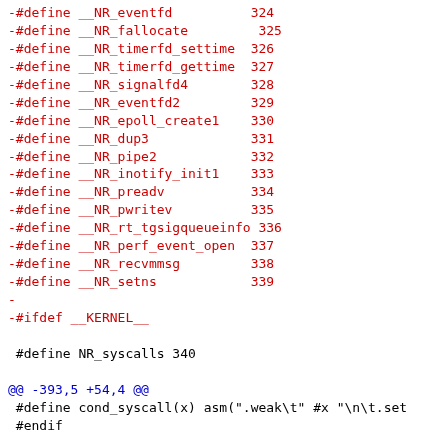-#define __NR_eventfd          324
-#define __NR_fallocate         325
-#define __NR_timerfd_settime  326
-#define __NR_timerfd_gettime  327
-#define __NR_signalfd4        328
-#define __NR_eventfd2         329
-#define __NR_epoll_create1    330
-#define __NR_dup3             331
-#define __NR_pipe2            332
-#define __NR_inotify_init1    333
-#define __NR_preadv           334
-#define __NR_pwritev          335
-#define __NR_rt_tgsigqueueinfo 336
-#define __NR_perf_event_open  337
-#define __NR_recvmmsg         338
-#define __NR_setns            339
-
-#ifdef __KERNEL__
 
 #define NR_syscalls 340
 
@@ -393,5 +54,4 @@
 #define cond_syscall(x) asm(".weak\t" #x "\n\t.set
 #endif
 
-#endif /* __KERNEL__ */
 #endif /* _ASM_UNISTD_H */
 
diff --git a/arch/mn10300/include/uapi/asm/Kbuild b
index baebb3da1d44..040178cdb3eb 100644